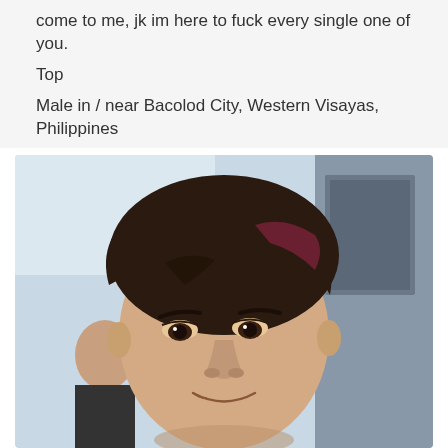come to me, jk im here to fuck every single one of you.
Top
Male in / near Bacolod City, Western Visayas, Philippines
[Figure (photo): Close-up selfie of a young male with dark brown hair with reddish highlights, styled in a side-swept cut, making a slight smirking expression. Background shows other people and what appears to be an indoor public space.]